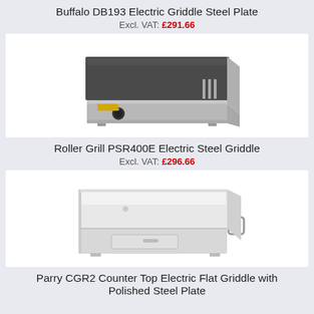Buffalo DB193 Electric Griddle Steel Plate
Excl. VAT: £291.66
[Figure (photo): Buffalo DB193 Electric Griddle Steel Plate product photo showing a stainless steel countertop electric griddle with a flat cooking surface and control knob on the front]
Roller Grill PSR400E Electric Steel Griddle
Excl. VAT: £296.66
[Figure (photo): Parry CGR2 Counter Top Electric Flat Griddle with Polished Steel Plate product photo showing a white/stainless rectangular countertop griddle with flat top and side handle]
Parry CGR2 Counter Top Electric Flat Griddle with Polished Steel Plate